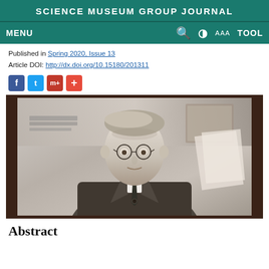SCIENCE MUSEUM GROUP JOURNAL
MENU
Published in Spring 2020, Issue 13
Article DOI: http://dx.doi.org/10.15180/201311
[Figure (photo): Black and white photograph of a young man with round glasses seated at a desk, wearing a suit jacket, with bookshelves and papers visible in the background. The photo is mounted in a dark wooden frame.]
Abstract